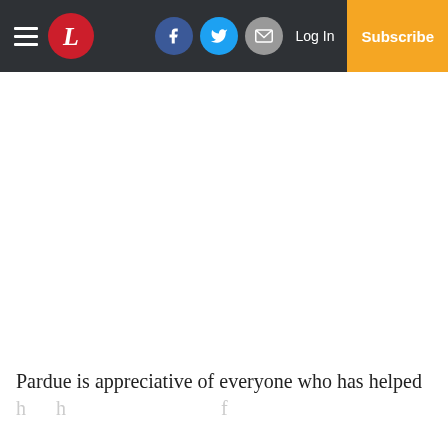L [newspaper logo] | Facebook | Twitter | Email | Log In | Subscribe
Pardue is appreciative of everyone who has helped